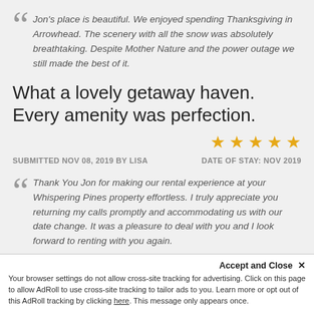Jon's place is beautiful. We enjoyed spending Thanksgiving in Arrowhead. The scenery with all the snow was absolutely breathtaking. Despite Mother Nature and the power outage we still made the best of it.
What a lovely getaway haven. Every amenity was perfection.
[Figure (other): Five gold/yellow star rating icons]
SUBMITTED NOV 08, 2019 BY LISA
DATE OF STAY: NOV 2019
Thank You Jon for making our rental experience at your Whispering Pines property effortless. I truly appreciate you returning my calls promptly and accommodating us with our date change. It was a pleasure to deal with you and I look forward to renting with you again.
Accept and Close ✕
Your browser settings do not allow cross-site tracking for advertising. Click on this page to allow AdRoll to use cross-site tracking to tailor ads to you. Learn more or opt out of this AdRoll tracking by clicking here. This message only appears once.